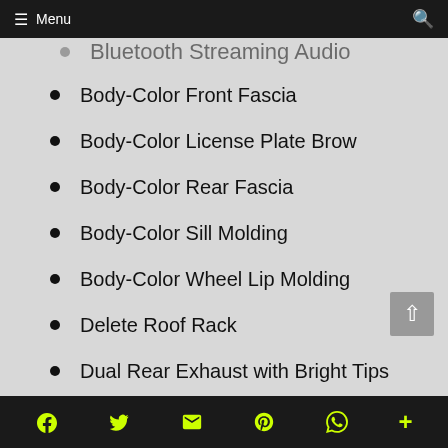Menu
Bluetooth Streaming Audio
Body-Color Front Fascia
Body-Color License Plate Brow
Body-Color Rear Fascia
Body-Color Sill Molding
Body-Color Wheel Lip Molding
Delete Roof Rack
Dual Rear Exhaust with Bright Tips
Goodyear® Brand Tires
Social share icons: Facebook, Twitter, Email, Pinterest, WhatsApp, More